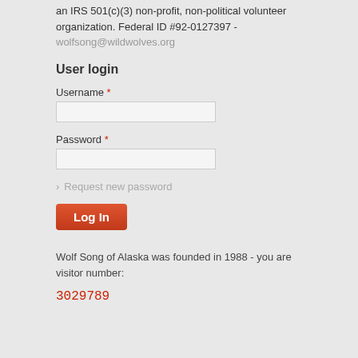an IRS 501(c)(3) non-profit, non-political volunteer organization. Federal ID #92-0127397 -
wolfsong@wildwolves.org
User login
Username *
Password *
› Request new password
Log In
Wolf Song of Alaska was founded in 1988 - you are visitor number:
3029789